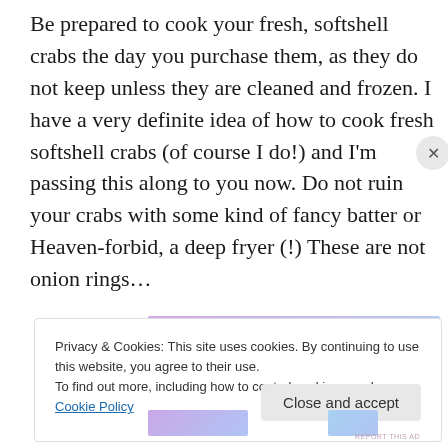Be prepared to cook your fresh, softshell crabs the day you purchase them, as they do not keep unless they are cleaned and frozen. I have a very definite idea of how to cook fresh softshell crabs (of course I do!) and I'm passing this along to you now. Do not ruin your crabs with some kind of fancy batter or Heaven-forbid, a deep fryer (!) These are not onion rings…
[Figure (other): WordPress.com advertisement banner with gradient background (purple to blue). Text reads 'Simplified pricing for everything you need.' with WordPress.com logo on the right.]
Privacy & Cookies: This site uses cookies. By continuing to use this website, you agree to their use.
To find out more, including how to control cookies, see here: Cookie Policy